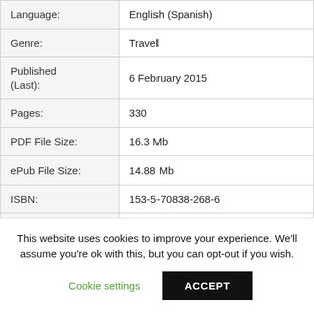| Field | Value |
| --- | --- |
| Language: | English (Spanish) |
| Genre: | Travel |
| Published (Last): | 6 February 2015 |
| Pages: | 330 |
| PDF File Size: | 16.3 Mb |
| ePub File Size: | 14.88 Mb |
| ISBN: | 153-5-70838-268-6 |
| Downloads: | 40558 |
|  | Free* [*Free Regsitration |
This website uses cookies to improve your experience. We'll assume you're ok with this, but you can opt-out if you wish.
Cookie settings   ACCEPT